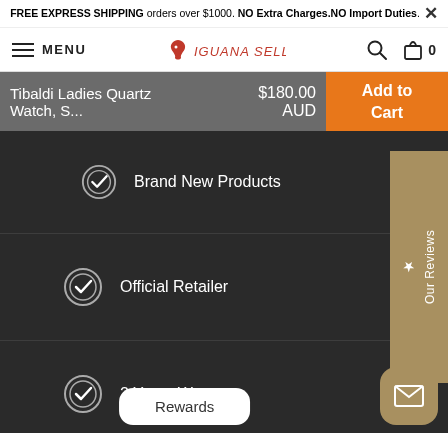FREE EXPRESS SHIPPING orders over $1000. NO Extra Charges.NO Import Duties.
[Figure (screenshot): Iguana Sell navigation bar with hamburger menu, MENU text, Iguana Sell logo, search icon, and cart with 0 items]
Tibaldi Ladies Quartz Watch, S... $180.00 AUD
Add to Cart
Brand New Products
Official Retailer
2 Years Warranty
Rewards